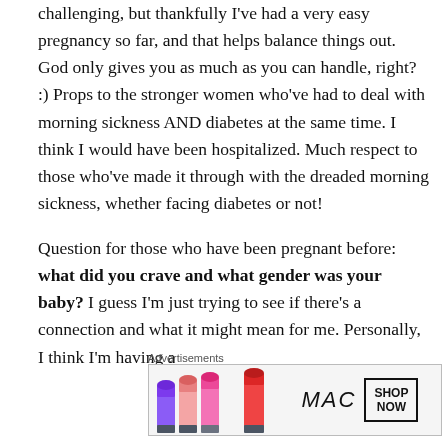challenging, but thankfully I've had a very easy pregnancy so far, and that helps balance things out.  God only gives you as much as you can handle, right? :)  Props to the stronger women who've had to deal with morning sickness AND diabetes at the same time.  I think I would have been hospitalized.  Much respect to those who've made it through with the dreaded morning sickness, whether facing diabetes or not!
Question for those who have been pregnant before: what did you crave and what gender was your baby?  I guess I'm just trying to see if there's a connection and what it might mean for me.  Personally, I think I'm having a
Advertisements
[Figure (photo): MAC cosmetics advertisement showing colorful lipsticks on the left, MAC logo in the middle, and a SHOP NOW button on the right]